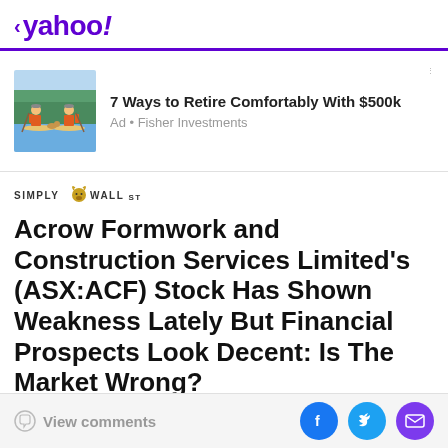< yahoo!
[Figure (infographic): Advertisement banner: illustration of two people paddleboarding with a dog, for Fisher Investments ad '7 Ways to Retire Comfortably With $500k']
7 Ways to Retire Comfortably With $500k
Ad • Fisher Investments
[Figure (logo): Simply Wall St logo with bull icon]
Acrow Formwork and Construction Services Limited's (ASX:ACF) Stock Has Shown Weakness Lately But Financial Prospects Look Decent: Is The Market Wrong?
Simply Wall St
View comments